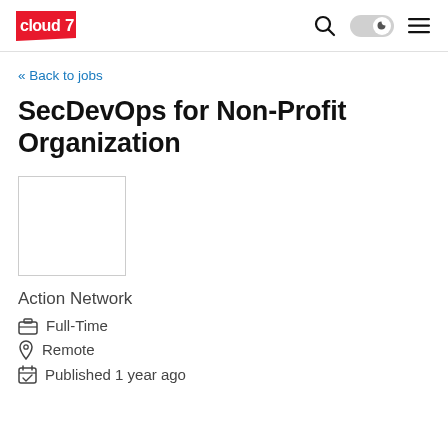cloud7 [navigation bar with search, dark mode toggle, and menu icons]
« Back to jobs
SecDevOps for Non-Profit Organization
[Figure (other): Company logo placeholder box (empty white rectangle with border)]
Action Network
Full-Time
Remote
Published 1 year ago